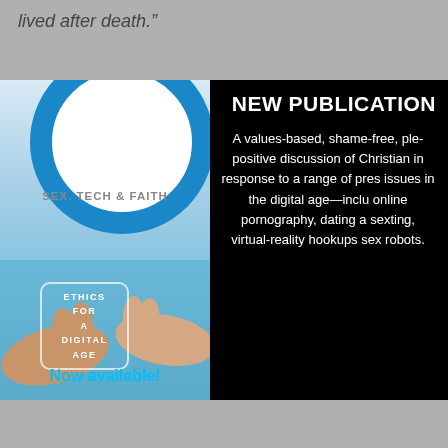lived after death.”
[Figure (illustration): Book cover for 'Sex, Tech & Faith: Ethics for a Digital Age' showing two hands nearly touching around a smartphone-like card, with a blue circle ring at top, on a light blue background. Left column of a black-background advertisement panel.]
NEW PUBLICATION
A values-based, shame-free, ple positive discussion of Christian in response to a range of pres issues in the digital age—inclu online pornography, dating a sexting, virtual-reality hookups sex robots.
Now available!